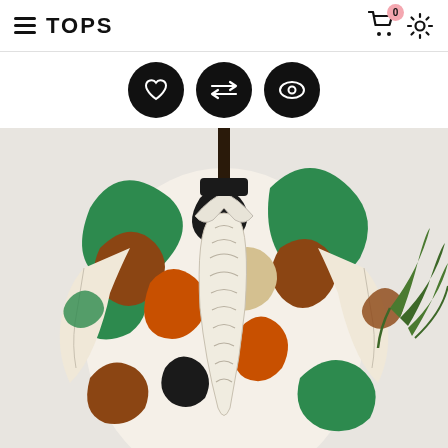TOPS
[Figure (screenshot): Three circular black icon buttons: heart (wishlist), arrows (compare), eye (quick view)]
[Figure (photo): A colorful abstract-print blouse with ruffles and long sleeves displayed on a mannequin, with a palm leaf visible on the right side]